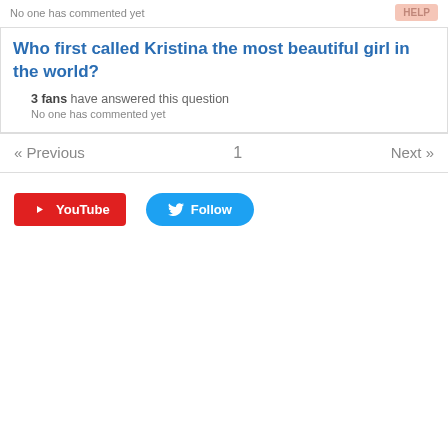No one has commented yet
Who first called Kristina the most beautiful girl in the world?
3 fans have answered this question
No one has commented yet
« Previous   1   Next »
[Figure (other): YouTube button and Twitter Follow button in social bar]